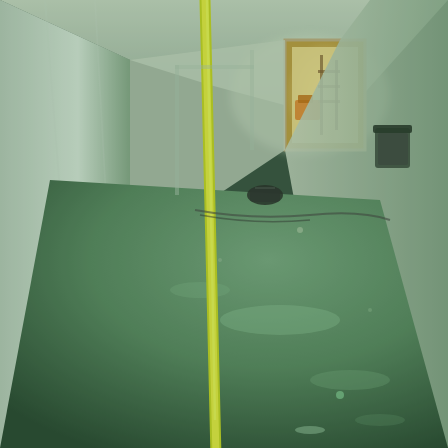[Figure (photo): Interior construction site photograph showing a hallway under construction. The foreground left shows a large smooth white/green-tinted drywall panel. In the center-left stands a yellow-handled floor squeegee leaning against the wall with a black rubber blade at the bottom on a wet concrete floor. The hallway extends into the background where construction equipment (scaffolding) and a trash bin are visible through a bright window at the far end. The floor appears wet and reflects greenish ambient light. Walls are white/light green painted drywall. Various construction materials and debris are visible.]